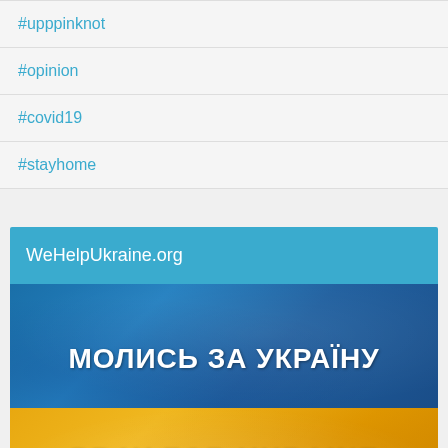#upppinknot
#opinion
#covid19
#stayhome
WeHelpUkraine.org
[Figure (illustration): Ukrainian flag image divided into blue (top) and yellow (bottom) halves with text 'МОЛИСЬ ЗА УКРАЇНУ' in white on the blue section and 'PRAY FOR UKRAINE' in white on the yellow section]